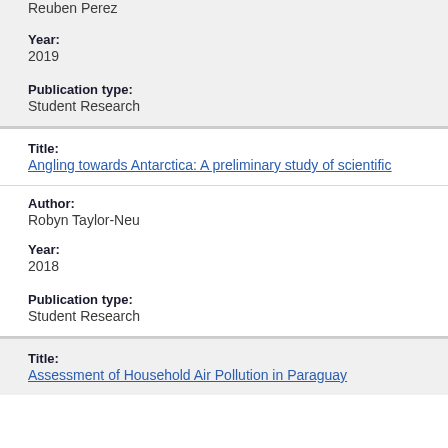Reuben Perez
Year:
2019
Publication type:
Student Research
Title:
Angling towards Antarctica: A preliminary study of scientific
Author:
Robyn Taylor-Neu
Year:
2018
Publication type:
Student Research
Title:
Assessment of Household Air Pollution in Paraguay